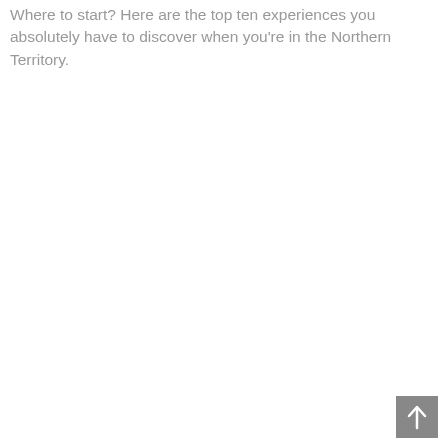Where to start? Here are the top ten experiences you absolutely have to discover when you're in the Northern Territory.
[Figure (other): Back to top button — a grey square with an upward-pointing arrow icon in the bottom-right corner of the page.]